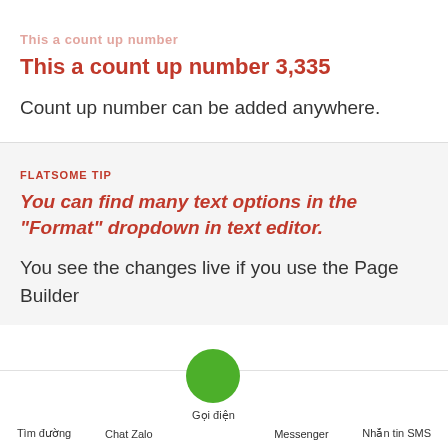This a count up number 3,335
Count up number can be added anywhere.
FLATSOME TIP
You can find many text options in the "Format" dropdown in text editor.
You see the changes live if you use the Page Builder
Tìm đường | Chat Zalo | Gọi điện | Messenger | Nhắn tin SMS